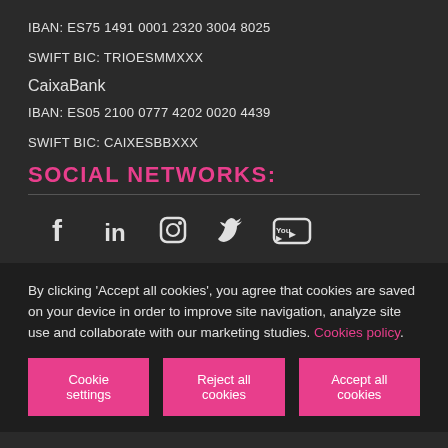IBAN: ES75 1491 0001 2320 3004 8025
SWIFT BIC: TRIOESMMXXX
CaixaBank
IBAN: ES05 2100 0777 4202 0020 4439
SWIFT BIC: CAIXESBBXXX
SOCIAL NETWORKS:
[Figure (infographic): Row of five social media icons: Facebook, LinkedIn, Instagram, Twitter, YouTube]
By clicking 'Accept all cookies', you agree that cookies are saved on your device in order to improve site navigation, analyze site use and collaborate with our marketing studies. Cookies policy.
Cookie settings | Reject all cookies | Accept all cookies